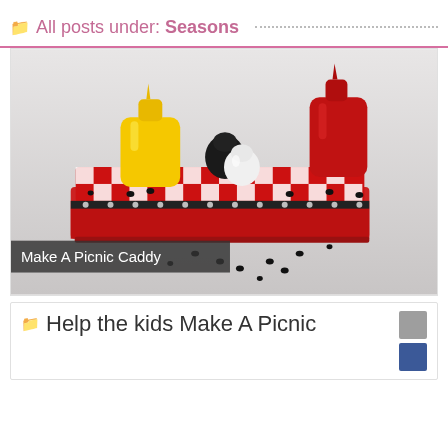All posts under: Seasons
[Figure (photo): A picnic condiment caddy tray with red and white checkered pattern decorated with ant figures, holding a yellow mustard squeeze bottle, black pepper shaker, white salt shaker, and red ketchup squeeze bottle. Small plastic ants are scattered around the base.]
Make A Picnic Caddy
Help the kids Make A Picnic